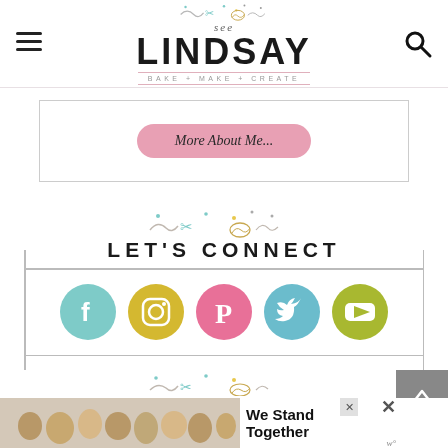[Figure (logo): See Lindsay blog logo with scissors/craft decorations, tagline BAKE + MAKE + CREATE]
[Figure (screenshot): More About Me button in pink rounded rectangle inside a bordered box]
[Figure (infographic): Decorative scissors/craft deco bar above LET'S CONNECT heading]
LET'S CONNECT
[Figure (infographic): Social media icons row: Facebook (teal), Instagram (yellow), Pinterest (pink), Twitter (blue), YouTube (olive)]
[Figure (screenshot): Scroll to top button (grey box with up arrow), partial bottom deco, advertisement banner: We Stand Together with group photo]